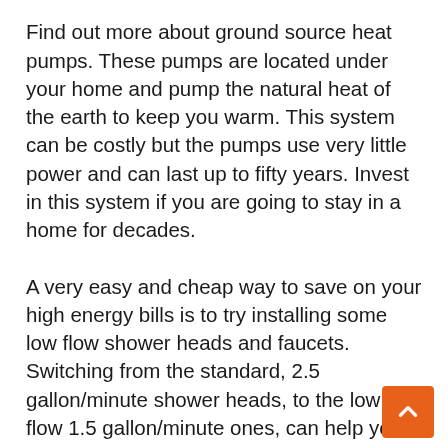smell fresh and feel wonderful.
Find out more about ground source heat pumps. These pumps are located under your home and pump the natural heat of the earth to keep you warm. This system can be costly but the pumps use very little power and can last up to fifty years. Invest in this system if you are going to stay in a home for decades.
A very easy and cheap way to save on your high energy bills is to try installing some low flow shower heads and faucets. Switching from the standard, 2.5 gallon/minute shower heads, to the low flow 1.5 gallon/minute ones, can help you save a lot with your hot water energy costs.